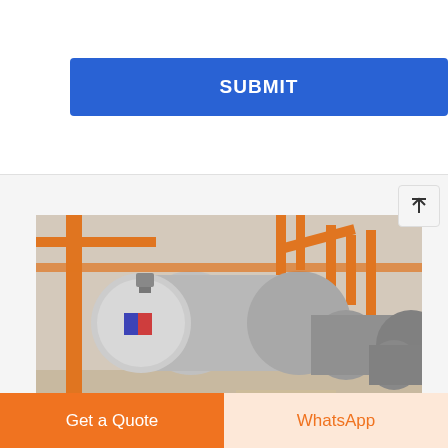[Figure (other): Blue SUBMIT button on white background]
[Figure (photo): Industrial boiler room with large stainless steel horizontal fire-tube boilers, orange piping and supports, multiple boiler units visible in background]
Commercial 8t Diesel Boiler Bran
[Figure (other): Orange 'Get a Quote' button and light orange 'WhatsApp' button at page bottom]